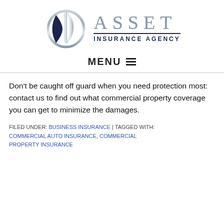[Figure (logo): Asset Insurance Agency logo with stylized silver and navy building/shield icon and text 'ASSET INSURANCE AGENCY']
MENU ☰
Don't be caught off guard when you need protection most: contact us to find out what commercial property coverage you can get to minimize the damages.
FILED UNDER: BUSINESS INSURANCE | TAGGED WITH: COMMERCIAL AUTO INSURANCE, COMMERCIAL PROPERTY INSURANCE